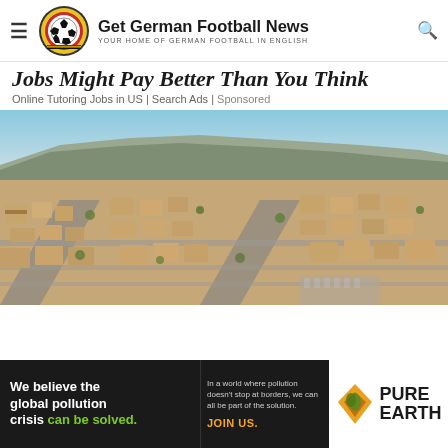Get German Football News — YOUR HOME OF GERMAN FOOTBALL IN ENGLISH
Jobs Might Pay Better Than You Think
Online Tutoring Jobs in US | Search Ads | Sponsored
[Figure (photo): Aerial drone photograph of a suburban residential neighborhood with rows of houses, streets, and mountains visible in the background under a clear blue sky.]
[Figure (infographic): Pure Earth advertisement banner: 'We believe the global pollution crisis can be solved.' with additional text 'In a world where pollution doesn't stop at borders, we can all be part of the solution. JOIN US.' and Pure Earth logo on white background.]